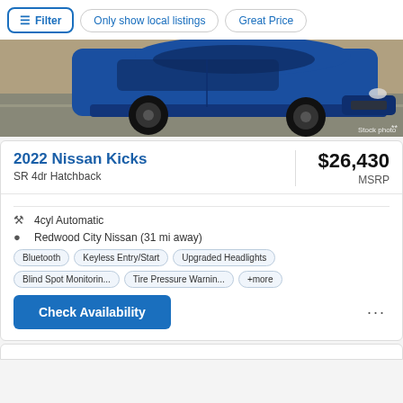Filter | Only show local listings | Great Price
[Figure (photo): Blue Nissan Kicks SUV shown from front-side angle driving on road, stock photo]
2022 Nissan Kicks
SR 4dr Hatchback
$26,430 MSRP
4cyl Automatic
Redwood City Nissan (31 mi away)
Bluetooth
Keyless Entry/Start
Upgraded Headlights
Blind Spot Monitorin...
Tire Pressure Warnin...
+more
Check Availability